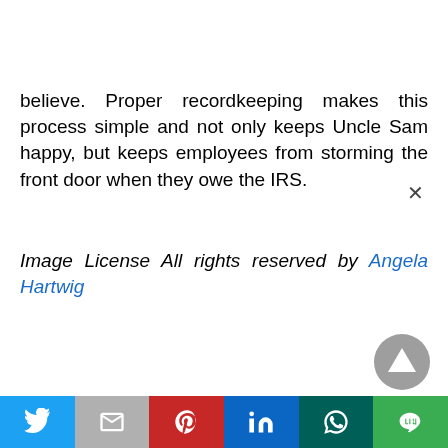believe. Proper recordkeeping makes this process simple and not only keeps Uncle Sam happy, but keeps employees from storming the front door when they owe the IRS.
Image License All rights reserved by Angela Hartwig